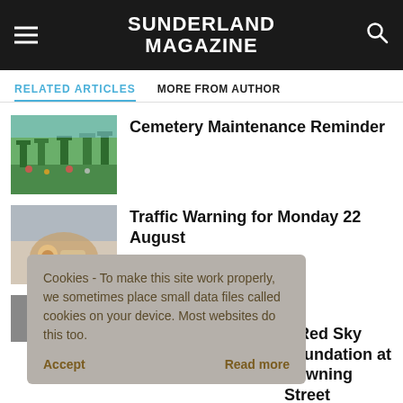SUNDERLAND MAGAZINE
RELATED ARTICLES   MORE FROM AUTHOR
Cemetery Maintenance Reminder
Traffic Warning for Monday 22 August
Cookies - To make this site work properly, we sometimes place small data files called cookies on your device. Most websites do this too.
...er Us as We